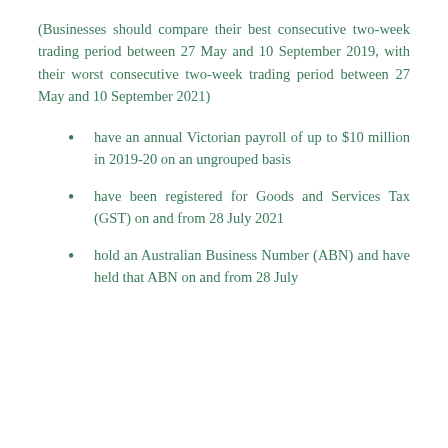(Businesses should compare their best consecutive two-week trading period between 27 May and 10 September 2019, with their worst consecutive two-week trading period between 27 May and 10 September 2021)
have an annual Victorian payroll of up to $10 million in 2019-20 on an ungrouped basis
have been registered for Goods and Services Tax (GST) on and from 28 July 2021
hold an Australian Business Number (ABN) and have held that ABN on and from 28 July